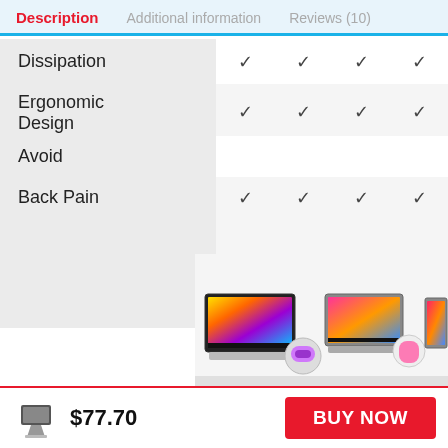Description | Additional information | Reviews (10)
| Feature | Col1 | Col2 | Col3 | Col4 |
| --- | --- | --- | --- | --- |
| Dissipation | ✓ | ✓ | ✓ | ✓ |
| Ergonomic
Design | ✓ | ✓ | ✓ | ✓ |
| Avoid |  |  |  |  |
| Back Pain | ✓ | ✓ | ✓ | ✓ |
[Figure (photo): Three laptop product images shown at bottom of comparison table]
$77.70
BUY NOW